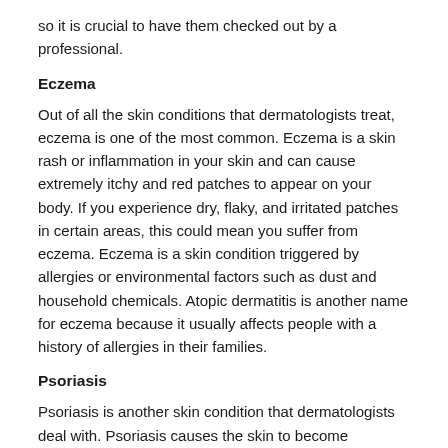so it is crucial to have them checked out by a professional.
Eczema
Out of all the skin conditions that dermatologists treat, eczema is one of the most common. Eczema is a skin rash or inflammation in your skin and can cause extremely itchy and red patches to appear on your body. If you experience dry, flaky, and irritated patches in certain areas, this could mean you suffer from eczema. Eczema is a skin condition triggered by allergies or environmental factors such as dust and household chemicals. Atopic dermatitis is another name for eczema because it usually affects people with a history of allergies in their families.
Psoriasis
Psoriasis is another skin condition that dermatologists deal with. Psoriasis causes the skin to become inflamed, flaky, and red. There are several different types of psoriasis, including plaque, guttate, inverse, and pustular. Psoriasis can affect any area of your body, but most commonly, it appears on your knees, elbows, and scalp. You